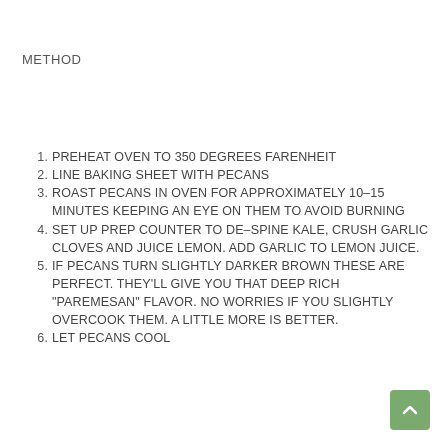METHOD
1. PREHEAT OVEN TO 350 DEGREES FARENHEIT
2. LINE BAKING SHEET WITH PECANS
3. ROAST PECANS IN OVEN FOR APPROXIMATELY 10-15 MINUTES KEEPING AN EYE ON THEM TO AVOID BURNING
4. SET UP PREP COUNTER TO DE-SPINE KALE, CRUSH GARLIC CLOVES AND JUICE LEMON. ADD GARLIC TO LEMON JUICE.
5. IF PECANS TURN SLIGHTLY DARKER BROWN THESE ARE PERFECT. THEY'LL GIVE YOU THAT DEEP RICH "PAREMESAN" FLAVOR. NO WORRIES IF YOU SLIGHTLY OVERCOOK THEM. A LITTLE MORE IS BETTER.
6. LET PECANS COOL